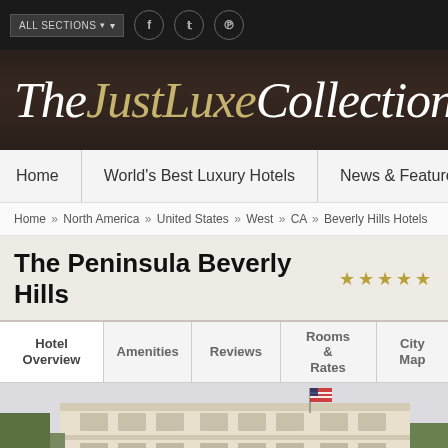ALL SECTIONS
TheJustLuxeCollection
Home | World's Best Luxury Hotels | News & Features | World
Home » North America » United States » West » CA » Beverly Hills Hotels
The Peninsula Beverly Hills ★★★★★
Hotel Overview | Amenities | Reviews | Rooms & Rates | City Map
[Figure (photo): Exterior photo of The Peninsula Beverly Hills hotel building, a grand neoclassical cream/white building with an American flag flying from a flagpole on the rooftop. Green trees visible on the right side.]